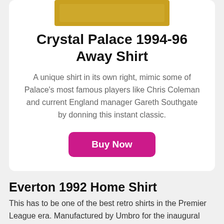[Figure (photo): Partial view of a golden/yellow football shirt image at the top of a product card]
Crystal Palace 1994-96 Away Shirt
A unique shirt in its own right, mimic some of Palace's most famous players like Chris Coleman and current England manager Gareth Southgate by donning this instant classic.
Buy Now
Everton 1992 Home Shirt
This has to be one of the best retro shirts in the Premier League era. Manufactured by Umbro for the inaugural season of the Premier League it has all the